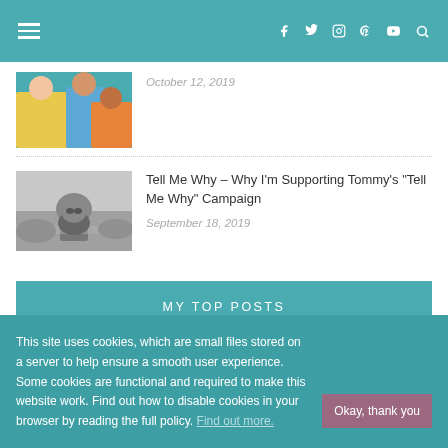Navigation bar with hamburger menu and social icons: facebook, twitter, instagram, pinterest, youtube, search
[Figure (photo): Color photo of children sitting together, partially visible at top]
October 12, 2019
[Figure (photo): Black and white photo of a raccoon sitting on a log in a field]
Tell Me Why – Why I'm Supporting Tommy's "Tell Me Why" Campaign
September 18, 2019
MY TOP POSTS
This site uses cookies, which are small files stored on a server to help ensure a smooth user experience. Some cookies are functional and required to make this website work. Find out how to disable cookies in your browser by reading the full policy. Find out more.